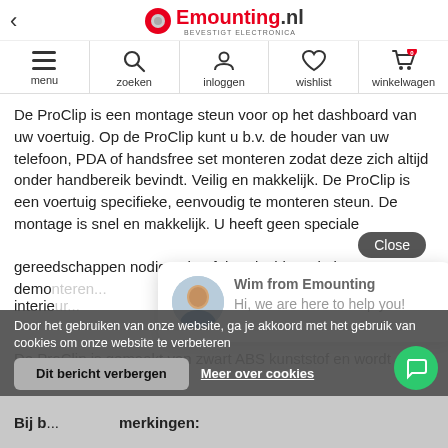< Emounting.nl - bevestigt electronica
[Figure (screenshot): Navigation bar with menu, zoeken, inloggen, wishlist, winkelwagen icons]
De ProClip is een montage steun voor op het dashboard van uw voertuig. Op de ProClip kunt u b.v. de houder van uw telefoon, PDA of handsfree set monteren zodat deze zich altijd onder handbereik bevindt. Veilig en makkelijk. De ProClip is een voertuig specifieke, eenvoudig te monteren steun. De montage is snel en makkelijk. U heeft geen speciale gereedschappen nodig, u hoeft het dashboard niet te demon... interie...
Wim from Emounting
Hi, we are here to help you!
De ProClip is gemaakt van zwart ABS kunststof en wordt... met een gedec... om onze website te verbeteren leverd...
Door het gebruiken van onze website, ga je akkoord met het gebruik van cookies om onze website te verbeteren
Dit bericht verbergen
Meer over cookies
Bij b... merkingen: